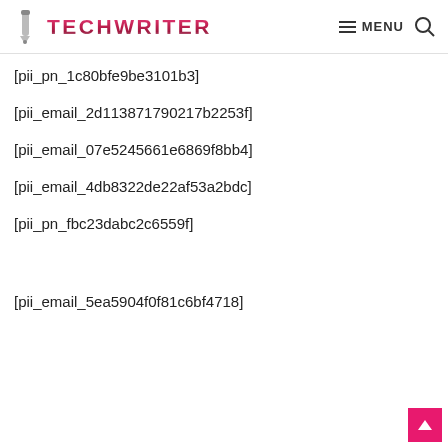TECHWRITER — MENU
[pii_pn_1c80bfe9be3101b3]
[pii_email_2d113871790217b2253f]
[pii_email_07e5245661e6869f8bb4]
[pii_email_4db8322de22af53a2bdc]
[pii_pn_fbc23dabc2c6559f]
[pii_email_5ea5904f0f81c6bf4718]